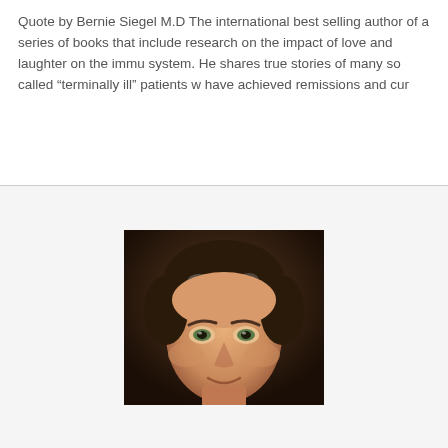Quote by Bernie Siegel M.D The international best selling author of a series of books that include research on the impact of love and laughter on the immune system. He shares true stories of many so called “terminally ill” patients who have achieved remissions and cur
[Figure (photo): Portrait photo of a middle-aged man with short grey-brown hair, looking directly at the camera against a dark background.]